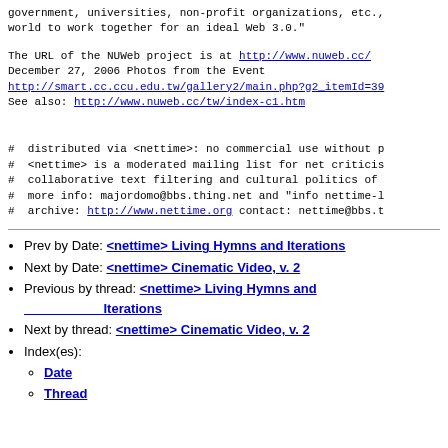government, universities, non-profit organizations, etc., world to work together for an ideal Web 3.0."
The URL of the NUWeb project is at http://www.nuweb.cc/ December 27, 2006 Photos from the Event http://smart.cc.ccu.edu.tw/gallery2/main.php?g2_itemId=39 See also: http://www.nuweb.cc/tw/index-c1.htm
# distributed via <nettime>: no commercial use without p
# <nettime> is a moderated mailing list for net criticis
# collaborative text filtering and cultural politics of
# more info: majordomo@bbs.thing.net and "info nettime-l
# archive: http://www.nettime.org contact: nettime@bbs.t
Prev by Date: <nettime> Living Hymns and Iterations
Next by Date: <nettime> Cinematic Video, v. 2
Previous by thread: <nettime> Living Hymns and Iterations
Next by thread: <nettime> Cinematic Video, v. 2
Index(es): Date, Thread